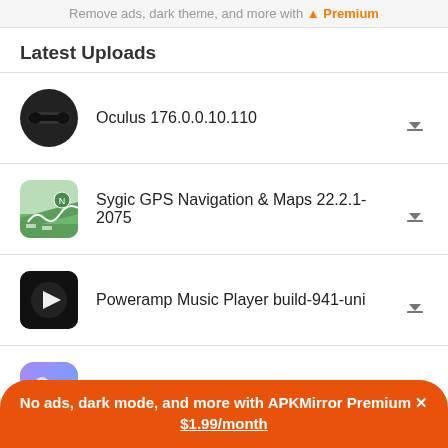Remove ads, dark theme, and more with  Premium
Latest Uploads
Oculus 176.0.0.10.110
Sygic GPS Navigation & Maps 22.2.1-2075
Poweramp Music Player build-941-uni
Xiaomi Gallery 3.4.9.5
Xiaomi Frequent phrases 3.2.0
No ads, dark mode, and more with APKMirror Premium ×
$1.99/month